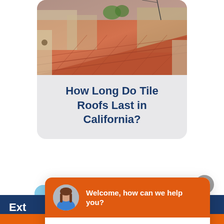[Figure (photo): Photo of a red/terracotta tile roof on a California home, viewed from above at an angle, with neighboring houses and trees visible in the background]
How Long Do Tile Roofs Last in California?
[Figure (photo): Partially visible photo (cropped at bottom) showing a sky with clouds]
Ext
Welcome, how can we help you?
Write your message...